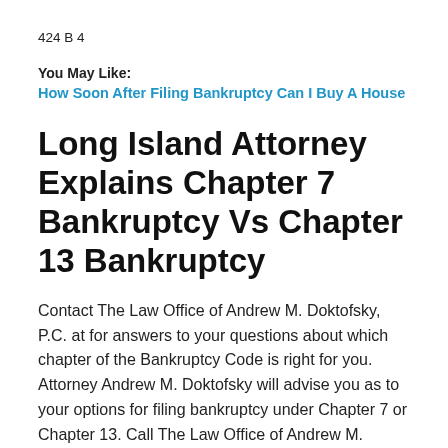424 B 4
You May Like:
How Soon After Filing Bankruptcy Can I Buy A House
Long Island Attorney Explains Chapter 7 Bankruptcy Vs Chapter 13 Bankruptcy
Contact The Law Office of Andrew M. Doktofsky, P.C. at for answers to your questions about which chapter of the Bankruptcy Code is right for you. Attorney Andrew M. Doktofsky will advise you as to your options for filing bankruptcy under Chapter 7 or Chapter 13. Call The Law Office of Andrew M. Doktofsky, P.C. today if you are considering filing for bankruptcy throughout the areas of